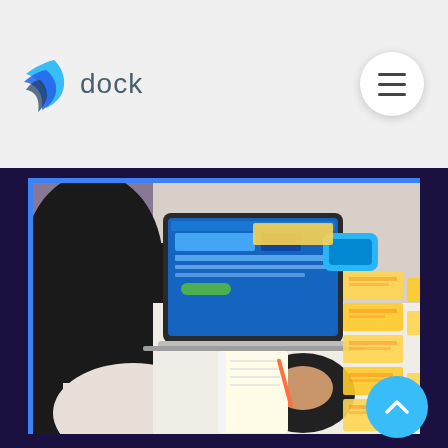dock
[Figure (photo): Woman working at a desk with a laptop showing a website, sticky notes arranged on the right, a notebook and mouse pad visible]
Steps to Create Distribution Groups in